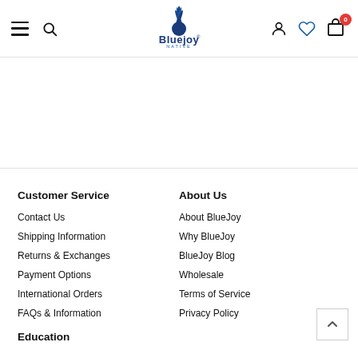BluejoyNative header with hamburger menu, search, logo, user, wishlist, cart (0)
Customer Service
Contact Us
Shipping Information
Returns & Exchanges
Payment Options
International Orders
FAQs & Information
About Us
About BlueJoy
Why BlueJoy
BlueJoy Blog
Wholesale
Terms of Service
Privacy Policy
Education